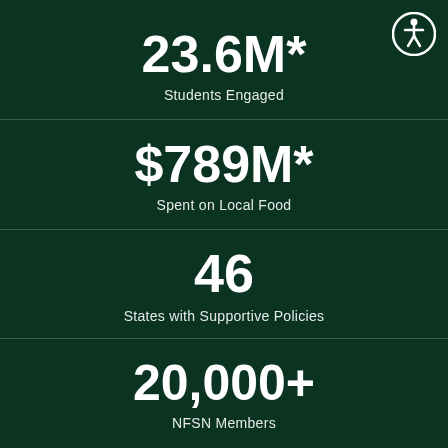23.6M*
Students Engaged
$789M*
Spent on Local Food
46
States with Supportive Policies
20,000+
NFSN Members